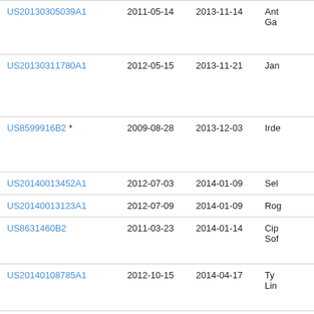| Patent Number | Filing Date | Publication Date | Inventor |
| --- | --- | --- | --- |
| US20130305039A1 | 2011-05-14 | 2013-11-14 | Ant
Ga |
| US20130311780A1 | 2012-05-15 | 2013-11-21 | Jan |
| US8599916B2 * | 2009-08-28 | 2013-12-03 | Irde |
| US20140013452A1 | 2012-07-03 | 2014-01-09 | Sel |
| US20140013123A1 | 2012-07-09 | 2014-01-09 | Rog |
| US8631460B2 | 2011-03-23 | 2014-01-14 | Cip
Sof |
| US20140108785A1 | 2012-10-15 | 2014-04-17 | Ty
Lin |
| US20140108782A1 | 2010-12-07 | 2014-04-17 | Co |